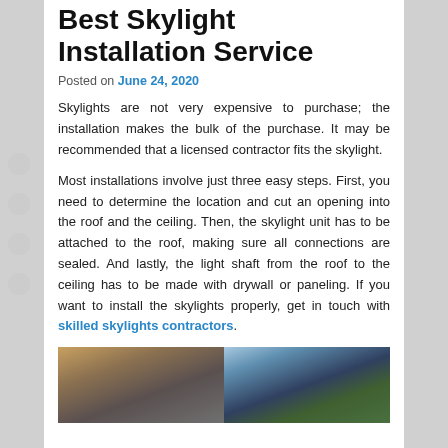Best Skylight Installation Service
Posted on June 24, 2020
Skylights are not very expensive to purchase; the installation makes the bulk of the purchase. It may be recommended that a licensed contractor fits the skylight.
Most installations involve just three easy steps. First, you need to determine the location and cut an opening into the roof and the ceiling. Then, the skylight unit has to be attached to the roof, making sure all connections are sealed. And lastly, the light shaft from the roof to the ceiling has to be made with drywall or paneling. If you want to install the skylights properly, get in touch with skilled skylights contractors.
[Figure (photo): Two-panel photo: left panel shows roofing/construction scene with yellow equipment; right panel shows trees against a sky background.]